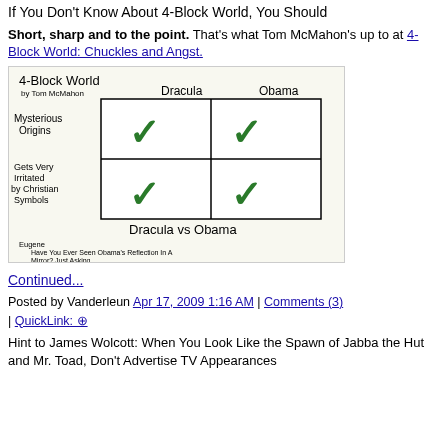If You Don't Know About 4-Block World, You Should
Short, sharp and to the point. That's what Tom McMahon's up to at 4-Block World: Chuckles and Angst.
[Figure (illustration): 4-Block World comic by Tom McMahon comparing Dracula and Obama. Grid with two rows (Mysterious Origins, Gets Very Irritated by Christian Symbols) and two columns (Dracula, Obama), all four cells containing green checkmarks. Caption: Dracula vs Obama. Bottom text by Eugene: Have You Ever Seen Obama's Reflection In A Mirror? Just Asking...]
Continued...
Posted by Vanderleun Apr 17, 2009 1:16 AM | Comments (3) | QuickLink: ⊕
Hint to James Wolcott: When You Look Like the Spawn of Jabba the Hut and Mr. Toad, Don't Advertise TV Appearances